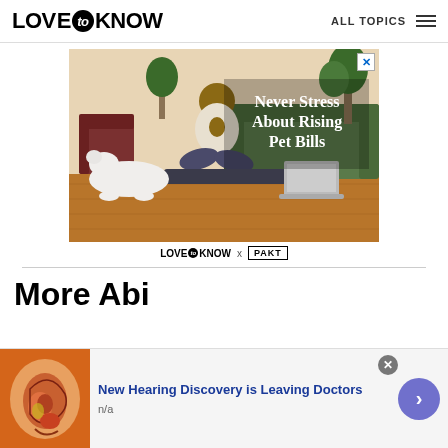LOVE to KNOW   ALL TOPICS
[Figure (photo): Advertisement showing a person sitting cross-legged on a yoga mat in a living room, with a white dog lying beside them and a laptop nearby. Text reads 'Never Stress About Rising Pet Bills'. Close button in top right.]
[Figure (logo): LoveToKnow x PAKT branding logo]
More Abo
[Figure (photo): Bottom advertisement banner with anatomical ear illustration and text 'New Hearing Discovery is Leaving Doctors', subtext 'n/a'. Close button and arrow navigation button on right.]